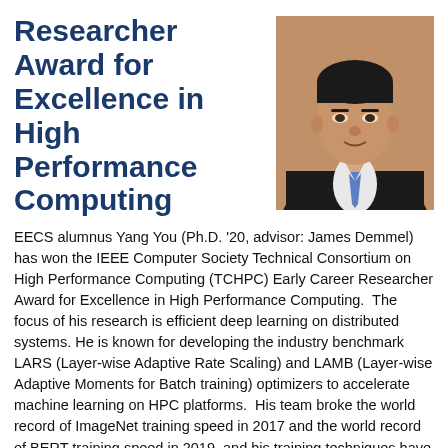Researcher Award for Excellence in High Performance Computing
[Figure (photo): Headshot of Yang You, a man in a dark suit with a blue tie and white dress shirt, photographed against a warm brown background.]
EECS alumnus Yang You (Ph.D. '20, advisor: James Demmel) has won the IEEE Computer Society Technical Consortium on High Performance Computing (TCHPC) Early Career Researcher Award for Excellence in High Performance Computing.  The focus of his research is efficient deep learning on distributed systems. He is known for developing the industry benchmark LARS (Layer-wise Adaptive Rate Scaling) and LAMB (Layer-wise Adaptive Moments for Batch training) optimizers to accelerate machine learning on HPC platforms.  His team broke the world record of ImageNet training speed in 2017 and the world record of BERT training speed in 2019, and his training techniques have been used by